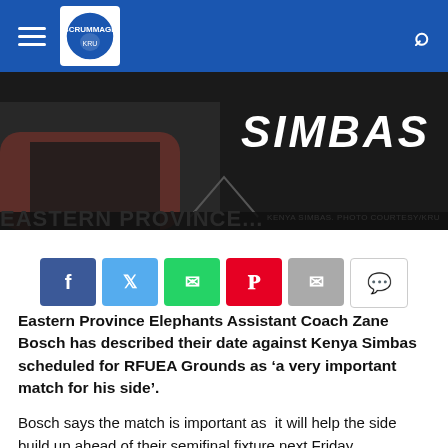Navigation bar with hamburger menu, logo, and search icon
[Figure (photo): Rugby players action photo with SIMBAS text overlay and caption 'KENYA SIMBAS. PHOTO COURTESY/KRU']
Social share buttons: Facebook, Twitter, WhatsApp, Pinterest, Email, Comment
Eastern Province Elephants Assistant Coach Zane Bosch has described their date against Kenya Simbas scheduled for RFUEA Grounds as ‘a very important match for his side’.
Bosch says the match is important as  it will help the side build up ahead of their semifinal fixture next Friday.
“It is a very important match for us as we are playing in the semifinal next Friday, so we are using this match as a preparation towards that fixture.” he told KRU Media.